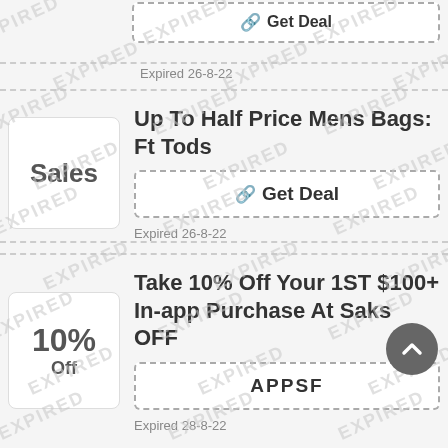Off
Get Deal
Expired 26-8-22
Up To Half Price Mens Bags: Ft Tods
Sales
Get Deal
Expired 26-8-22
Take 10% Off Your 1ST $100+ In-app Purchase At Saks OFF
10% Off
APPSF
Expired 28-8-22